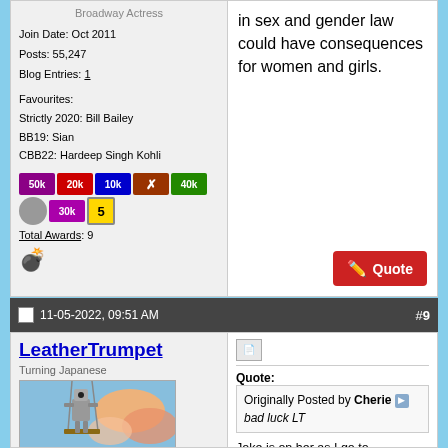Broadway Actress
Join Date: Oct 2011
Posts: 55,247
Blog Entries: 1
Favourites:
Strictly 2020: Bill Bailey
BB19: Sian
CBB22: Hardeep Singh Kohli
[Figure (other): Row of forum award badges: 50k (purple), 20k (red), 10k (blue), X (red/brown), 40k (green), moon (grey), 30k (purple), 5 (gold)]
Total Awards: 9
[Figure (other): Bomb emoji icon]
in sex and gender law could have consequences for women and girls.
[Figure (other): Red Quote button with pencil icon]
11-05-2022, 09:51 AM  #9
LeatherTrumpet
Turning Japanese
[Figure (photo): Avatar image of a robot/mechanical figure on a swing against a cloudy sky]
[Figure (other): Small document/page icon]
Quote:
Originally Posted by Cherie
bad luck LT
Joke is on her as I go to Homebase for that sort of stuff and they dont test anything